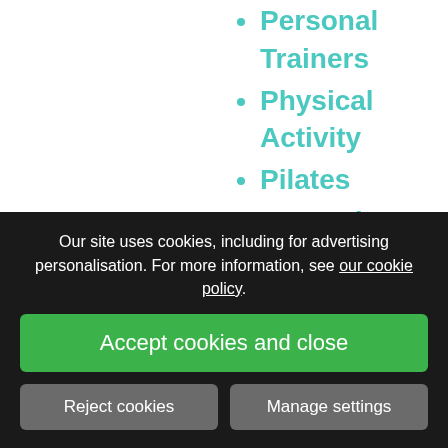Personal Trainers
Physical Activity
Pilates
Pre and post natal
pregnancy
Productivity
PT
public liability insurance
Qualifications
self employed
sport
Swimming
Team sponsor
Our site uses cookies, including for advertising personalisation. For more information, see our cookie policy.
Accept cookies and close
Reject cookies
Manage settings